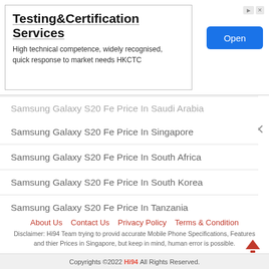[Figure (other): Advertisement banner for Testing & Certification Services (HKCTC) with 'Open' button]
Samsung Galaxy S20 Fe Price In Saudi Arabia
Samsung Galaxy S20 Fe Price In Singapore
Samsung Galaxy S20 Fe Price In South Africa
Samsung Galaxy S20 Fe Price In South Korea
Samsung Galaxy S20 Fe Price In Tanzania
Samsung Galaxy S20 Fe Price In UAE
Samsung Galaxy S20 Fe Price In United Kingdom
About Us   Contact Us   Privacy Policy   Terms & Condition
Disclaimer: Hi94 Team trying to provid accurate Mobile Phone Specifications, Features and thier Prices in Singapore, but keep in mind, human error is possible.
Copyrights ©2022 Hi94 All Rights Reserved.